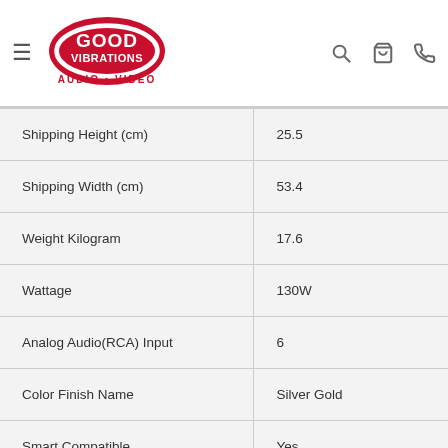Good Vibrations Audio • Video
| Attribute | Value |
| --- | --- |
| Shipping Height (cm) | 25.5 |
| Shipping Width (cm) | 53.4 |
| Weight Kilogram | 17.6 |
| Wattage | 130W |
| Analog Audio(RCA) Input | 6 |
| Color Finish Name | Silver Gold |
| Smart Compatible | Yes |